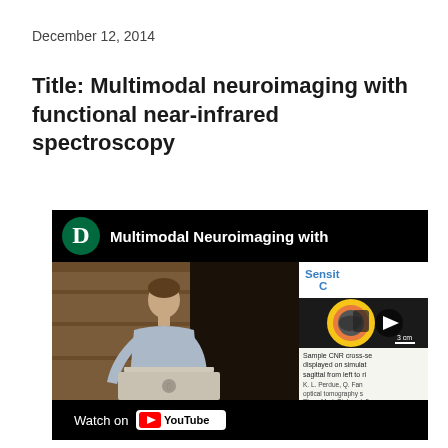December 12, 2014
Title: Multimodal neuroimaging with functional near-infrared spectroscopy
[Figure (screenshot): YouTube video thumbnail showing a Dartmouth lecture titled 'Multimodal Neuroimaging with...' with a lecturer standing at a podium with a laptop on the left, and a brain scan image on the right, along with a paper snippet. Bottom bar shows 'Watch on YouTube' button.]